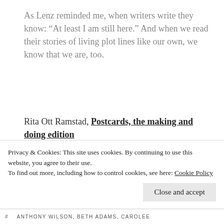As Lenz reminded me, when writers write they know: “At least I am still here.” And when we read their stories of living plot lines like our own, we know that we are, too.
Rita Ott Ramstad, Postcards, the making and doing edition
Share this:
Twitter  Email  Print
Privacy & Cookies: This site uses cookies. By continuing to use this website, you agree to their use.
To find out more, including how to control cookies, see here: Cookie Policy
Close and accept
#  ANTHONY WILSON, BETH ADAMS, CAROLEE